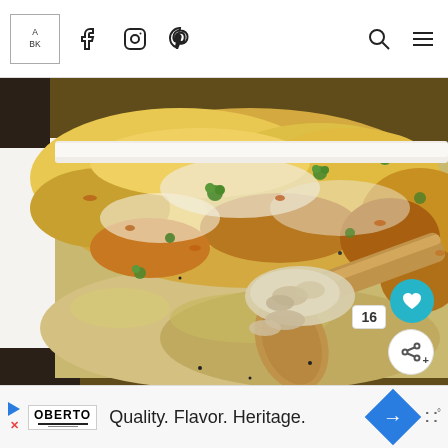Navigation bar with logo, social icons (Facebook, Instagram, Pinterest), search and menu icons
[Figure (photo): Close-up photo of a cheesy baked pasta casserole in a white baking dish, topped with golden-brown melted cheese and fresh green parsley flakes. A wooden spoon is scooping out a portion showing creamy pasta underneath. The dish is on a dark wooden surface.]
OBERTO Quality. Flavor. Heritage. Advertisement bar